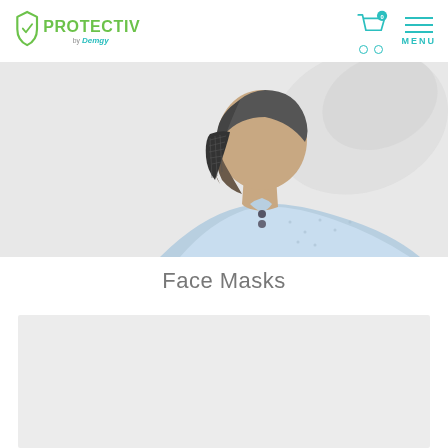PROTECTIV by Demgy — navigation header with logo, cart (0), and menu
[Figure (photo): Back view of a man wearing a dark face mask/respirator, dressed in a light blue button-up shirt, on a white/light gray background]
Face Masks
[Figure (photo): Light gray product card placeholder area]